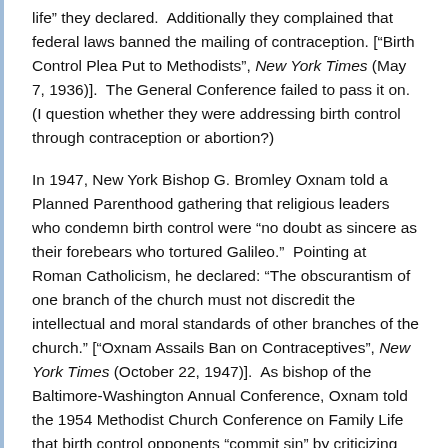life” they declared.  Additionally they complained that federal laws banned the mailing of contraception. [“Birth Control Plea Put to Methodists”, New York Times (May 7, 1936)].  The General Conference failed to pass it on.  (I question whether they were addressing birth control through contraception or abortion?)
In 1947, New York Bishop G. Bromley Oxnam told a Planned Parenthood gathering that religious leaders who condemn birth control were “no doubt as sincere as their forebears who tortured Galileo.”  Pointing at Roman Catholicism, he declared: “The obscurantism of one branch of the church must not discredit the intellectual and moral standards of other branches of the church.” [“Oxnam Assails Ban on Contraceptives”, New York Times (October 22, 1947)].  As bishop of the Baltimore-Washington Annual Conference, Oxnam told the 1954 Methodist Church Conference on Family Life that birth control opponents “commit sin” by criticizing “Christian men and women who